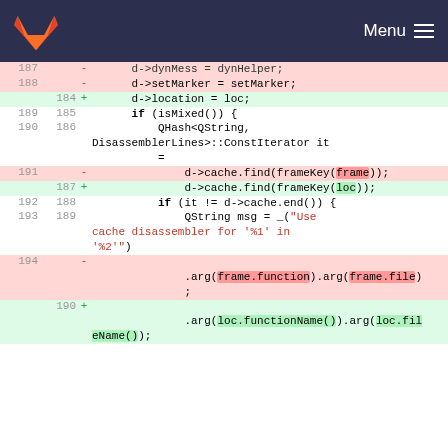GitLab Menu
[Figure (screenshot): Code diff view showing changes in a C++ file. Removed lines (pink) and added lines (green) are shown with line numbers on left (old) and right (new) sides, with +/- markers.]